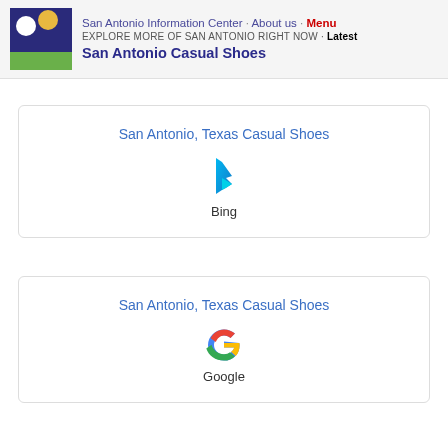San Antonio Information Center · About us · Menu
EXPLORE MORE OF SAN ANTONIO RIGHT NOW · Latest
San Antonio Casual Shoes
San Antonio, Texas Casual Shoes
Bing
San Antonio, Texas Casual Shoes
Google